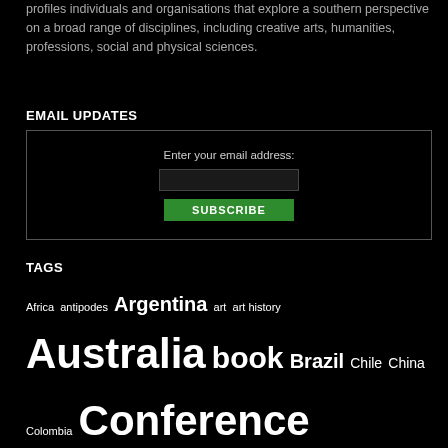profiles individuals and organisations that explore a southern perspective on a broad range of disciplines, including creative arts, humanities, professions, social and physical sciences.
EMAIL UPDATES
Enter your email address: [input field] SUBSCRIBE
TAGS
Africa antipodes Argentina art art history Australia book Brazil Chile China Colombia Conference decolonial design Education environment español Fiji Global South